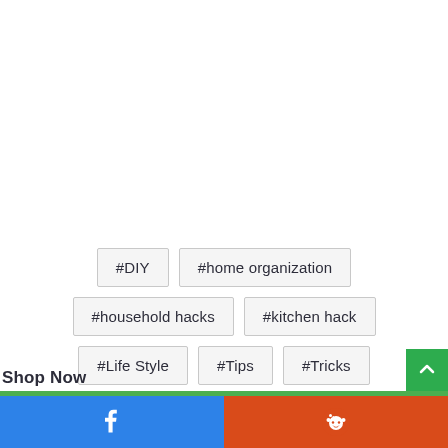#DIY
#home organization
#household hacks
#kitchen hack
#Life Style
#Tips
#Tricks
Shop Now
[Figure (screenshot): Social share bar with Facebook and Reddit buttons at bottom of page]